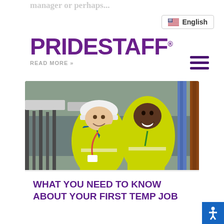maybe your boss had a terrible manager or perhaps...
[Figure (logo): PrideStaff logo in purple bold text]
READ MORE »
[Figure (screenshot): English language selector button with US flag icon]
[Figure (photo): Two construction workers in yellow hi-vis vests smiling at a worksite, one wearing a white hard hat]
WHAT YOU NEED TO KNOW ABOUT YOUR FIRST TEMP JOB